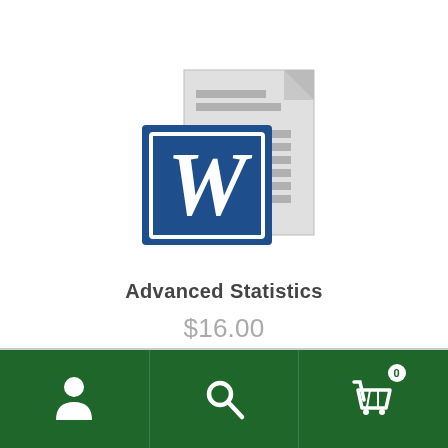[Figure (logo): Microsoft Word document icon with large blue W letter on a blue square background over a grey document/file icon]
Advanced Statistics
$16.00
[Figure (infographic): Bottom navigation bar with dark green background containing three icons: user/person icon, search/magnifying glass icon, and shopping cart icon with badge showing 0]